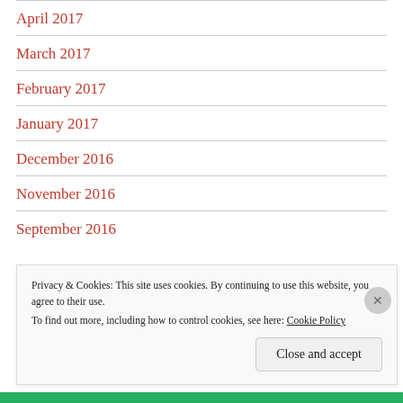April 2017
March 2017
February 2017
January 2017
December 2016
November 2016
September 2016
Privacy & Cookies: This site uses cookies. By continuing to use this website, you agree to their use.
To find out more, including how to control cookies, see here: Cookie Policy
Close and accept